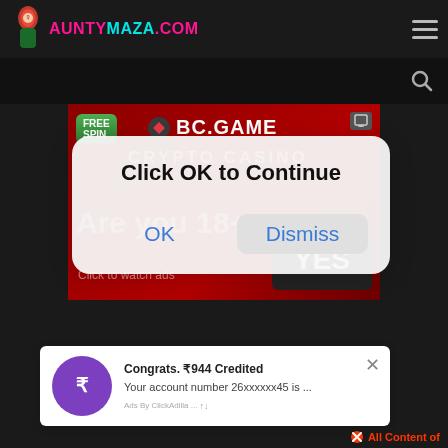AUNTYMAZA.COM
[Figure (screenshot): BC.GAME crypto casino advertisement banner with FREE SPIN text and colorful graphics]
[Figure (screenshot): Browser dialog popup with 'Click OK to Continue' message showing OK and Dismiss buttons]
Congrats. ₹944 Credited
Your account number 26xxxxxx45 is ...
All Content of